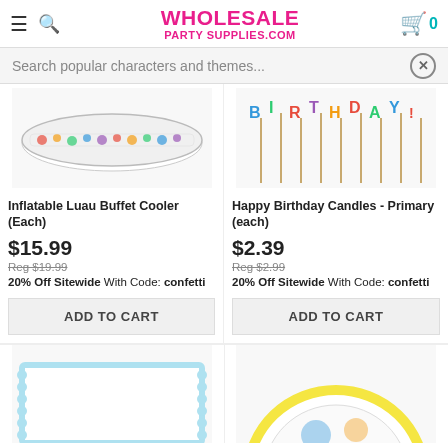WHOLESALE PARTY SUPPLIES.COM
Search popular characters and themes...
[Figure (photo): Inflatable Luau Buffet Cooler product image - colorful inflatable cooler with tropical pattern]
[Figure (photo): Happy Birthday Candles - Primary - letter candles on sticks spelling BIRTHDAY with colorful letters]
Inflatable Luau Buffet Cooler (Each)
Happy Birthday Candles - Primary (each)
$15.99
$2.39
Reg $19.99
Reg $2.99
20% Off Sitewide With Code: confetti
20% Off Sitewide With Code: confetti
ADD TO CART
ADD TO CART
[Figure (photo): Partial view of a cake decoration product - appears to be a rectangular cake topper with blue border]
[Figure (photo): Partial view of a round decorated cake with yellow frosting border]